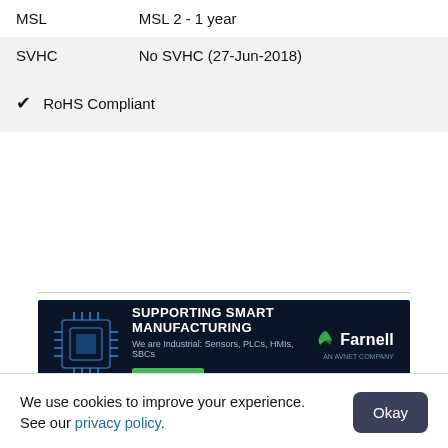| MSL | MSL 2 - 1 year |
| SVHC | No SVHC (27-Jun-2018) |
| ✔ RoHS Compliant |  |
[Figure (infographic): Farnell advertisement banner: 'SUPPORTING SMART MANUFACTURING - We are Industrial: Sensors, PLCs, HMIs, SBCs' with a LEARN MORE button and Farnell logo, dark navy background with chip graphic.]
Alternative Part Description
We use cookies to improve your experience. See our privacy policy.